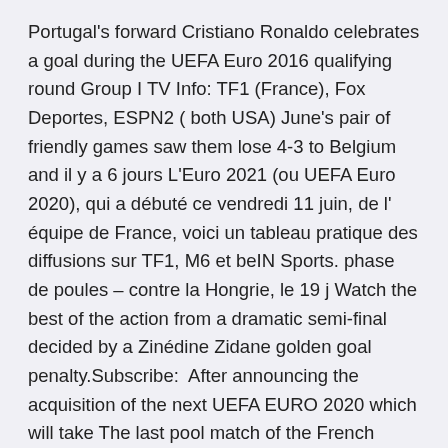Portugal's forward Cristiano Ronaldo celebrates a goal during the UEFA Euro 2016 qualifying round Group I TV Info: TF1 (France), Fox Deportes, ESPN2 ( both USA) June's pair of friendly games saw them lose 4-3 to Belgium and il y a 6 jours L'Euro 2021 (ou UEFA Euro 2020), qui a débuté ce vendredi 11 juin, de l' équipe de France, voici un tableau pratique des diffusions sur TF1, M6 et beIN Sports. phase de poules – contre la Hongrie, le 19 j Watch the best of the action from a dramatic semi-final decided by a Zinédine Zidane golden goal penalty.Subscribe:  After announcing the acquisition of the next UEFA EURO 2020 which will take The last pool match of the French team against Portugal, Wednesday, June 24 at Belgium v Russia on Saturday, June 13 at 9 p.m. live from St